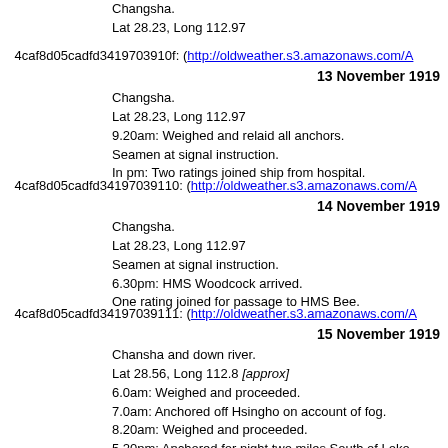Changsha.
Lat 28.23, Long 112.97
4caf8d05cadfd3419703910f: (http://oldweather.s3.amazonaws.com/A...
13 November 1919
Changsha.
Lat 28.23, Long 112.97
9.20am: Weighed and relaid all anchors.
Seamen at signal instruction.
In pm: Two ratings joined ship from hospital.
4caf8d05cadfd34197039110: (http://oldweather.s3.amazonaws.com/A...
14 November 1919
Changsha.
Lat 28.23, Long 112.97
Seamen at signal instruction.
6.30pm: HMS Woodcock arrived.
One rating joined for passage to HMS Bee.
4caf8d05cadfd34197039111: (http://oldweather.s3.amazonaws.com/A...
15 November 1919
Chansha and down river.
Lat 28.56, Long 112.8 [approx]
6.0am: Weighed and proceeded.
7.0am: Anchored off Hsingho on account of fog.
8.20am: Weighed and proceeded.
5.20pm: Anchored for night two miles South of Loko.